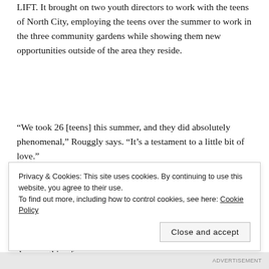LIFT. It brought on two youth directors to work with the teens of North City, employing the teens over the summer to work in the three community gardens while showing them new opportunities outside of the area they reside.
“We took 26 [teens] this summer, and they did absolutely phenomenal,” Rouggly says. “It’s a testament to a little bit of love.”
Each week, the LOVEtheLOU team takes the teens on an “empowered experience” after their work in the community gardens to expose the students to different career paths and opportunities. LOVEtheLOU also partners with businesses to do everything from
Privacy & Cookies: This site uses cookies. By continuing to use this website, you agree to their use.
To find out more, including how to control cookies, see here: Cookie Policy
Close and accept